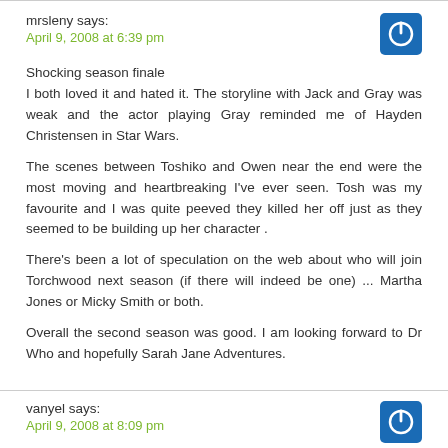mrsleny says:
April 9, 2008 at 6:39 pm

Shocking season finale
I both loved it and hated it. The storyline with Jack and Gray was weak and the actor playing Gray reminded me of Hayden Christensen in Star Wars.

The scenes between Toshiko and Owen near the end were the most moving and heartbreaking I've ever seen. Tosh was my favourite and I was quite peeved they killed her off just as they seemed to be building up her character .

There's been a lot of speculation on the web about who will join Torchwood next season (if there will indeed be one) ... Martha Jones or Micky Smith or both.

Overall the second season was good. I am looking forward to Dr Who and hopefully Sarah Jane Adventures.
vanyel says:
April 9, 2008 at 8:09 pm